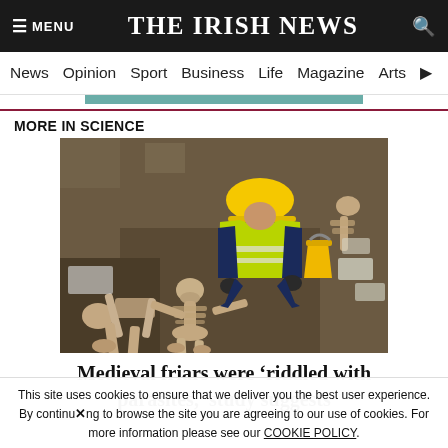≡ MENU   THE IRISH NEWS   🔍
News  Opinion  Sport  Business  Life  Magazine  Arts
MORE IN SCIENCE
[Figure (photo): Archaeological excavation showing a worker in yellow hard hat and hi-vis jacket crouching over a medieval skeleton in a trench, with other skeletal remains visible around the dig site.]
Medieval friars were 'riddled with parasites,' study suggests
This site uses cookies to ensure that we deliver you the best user experience. By continuing to browse the site you are agreeing to our use of cookies. For more information please see our COOKIE POLICY.